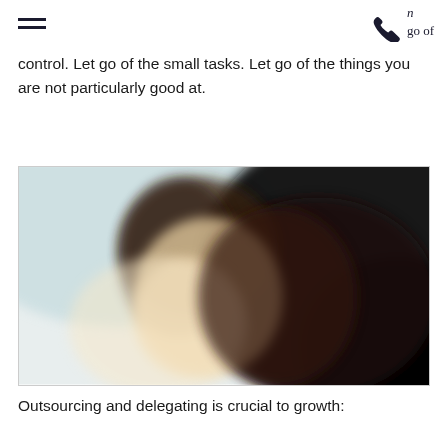n
go of
control. Let go of the small tasks. Let go of the things you are not particularly good at.
[Figure (photo): Blurred photograph of a person, showing soft-focus portrait with light background on the left and dark background on the right.]
Outsourcing and delegating is crucial to growth: